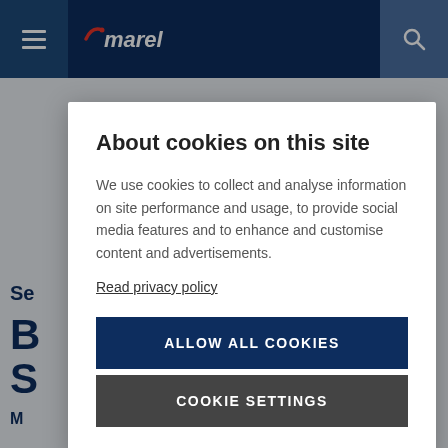[Figure (logo): Marel company logo with red swoosh on dark navy header bar, hamburger menu icon on left, search icon on right]
About cookies on this site
We use cookies to collect and analyse information on site performance and usage, to provide social media features and to enhance and customise content and advertisements.
Read privacy policy
ALLOW ALL COOKIES
COOKIE SETTINGS
Se
B
S
M
Improved box weight accuracy